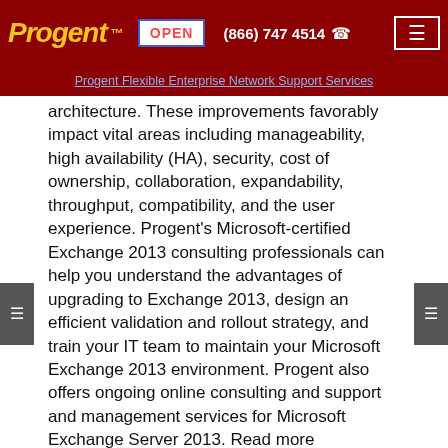Progent™   OPEN   (866) 747 4514   ☎
Progent Flexible Enterprise Network Support Services
architecture. These improvements favorably impact vital areas including manageability, high availability (HA), security, cost of ownership, collaboration, expandability, throughput, compatibility, and the user experience. Progent's Microsoft-certified Exchange 2013 consulting professionals can help you understand the advantages of upgrading to Exchange 2013, design an efficient validation and rollout strategy, and train your IT team to maintain your Microsoft Exchange 2013 environment. Progent also offers ongoing online consulting and support and management services for Microsoft Exchange Server 2013. Read more concerning Progent's Microsoft Exchange Server 2013 support services.
Exchange 2010 Consulting Support